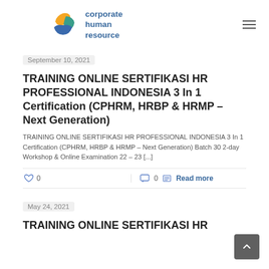corporate human resource
September 10, 2021
TRAINING ONLINE SERTIFIKASI HR PROFESSIONAL INDONESIA 3 In 1 Certification (CPHRM, HRBP & HRMP – Next Generation)
TRAINING ONLINE SERTIFIKASI HR PROFESSIONAL INDONESIA 3 In 1 Certification (CPHRM, HRBP & HRMP – Next Generation) Batch 30 2-day Workshop & Online Examination 22 – 23 [...]
0   0   Read more
May 24, 2021
TRAINING ONLINE SERTIFIKASI HR